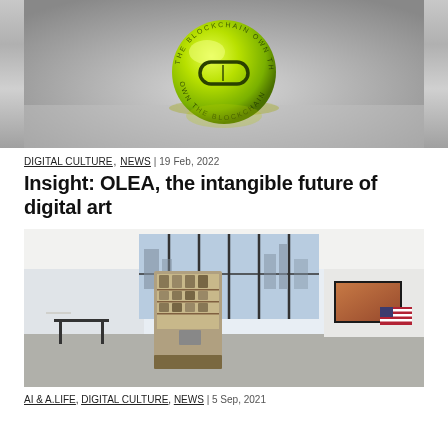[Figure (photo): A glowing yellow-green translucent sphere with blockchain-related text inscribed on it, sitting on a reflective surface in a modern interior setting.]
DIGITAL CULTURE, NEWS | 19 Feb, 2022
Insight: OLEA, the intangible future of digital art
[Figure (photo): A gallery interior with a vending machine filled with items, large windows showing a city skyline, a landscape image on screen, and an American flag artwork on the right wall.]
AI & A.LIFE, DIGITAL CULTURE, NEWS | 5 Sep, 2021